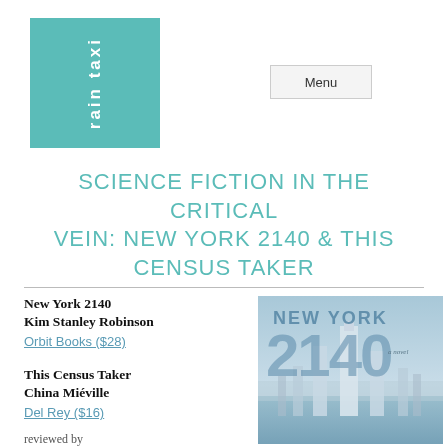[Figure (logo): Rain Taxi logo — teal/turquoise square with white vertical text reading 'rain taxi']
Menu
SCIENCE FICTION IN THE CRITICAL VEIN: NEW YORK 2140 & THIS CENSUS TAKER
New York 2140
Kim Stanley Robinson
Orbit Books ($28)
This Census Taker
China Miéville
Del Rey ($16)
[Figure (photo): Book cover of 'New York 2140' by Kim Stanley Robinson — shows futuristic flooded New York City with skyscrapers rising from water, blue/grey tones, large '2140' text]
reviewed by